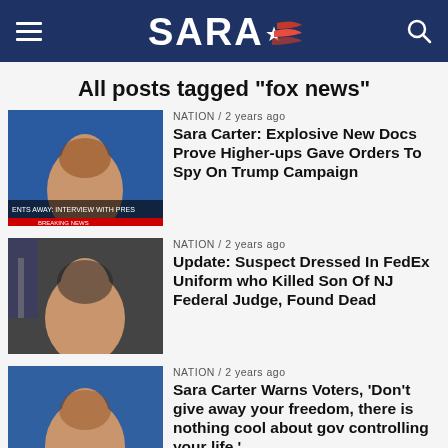SARA★ (logo with hamburger menu and search icon)
All posts tagged "fox news"
NATION / 2 years ago
Sara Carter: Explosive New Docs Prove Higher-ups Gave Orders To Spy On Trump Campaign
NATION / 2 years ago
Update: Suspect Dressed In FedEx Uniform who Killed Son Of NJ Federal Judge, Found Dead
NATION / 2 years ago
Sara Carter Warns Voters, 'Don't give away your freedom, there is nothing cool about gov controlling your life.'
NATION / 2 years ago
Trump On Roger Stone Trial: 'Incredible'